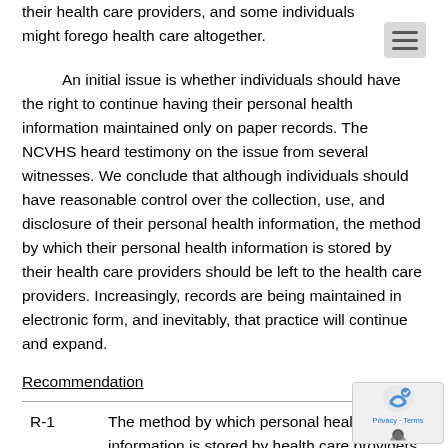their health care providers, and some individuals might forego health care altogether.
An initial issue is whether individuals should have the right to continue having their personal health information maintained only on paper records. The NCVHS heard testimony on the issue from several witnesses. We conclude that although individuals should have reasonable control over the collection, use, and disclosure of their personal health information, the method by which their personal health information is stored by their health care providers should be left to the health care providers. Increasingly, records are being maintained in electronic form, and inevitably, that practice will continue and expand.
Recommendation
|  |  |
| --- | --- |
| R-1 | The method by which personal health information is stored by health care providers |